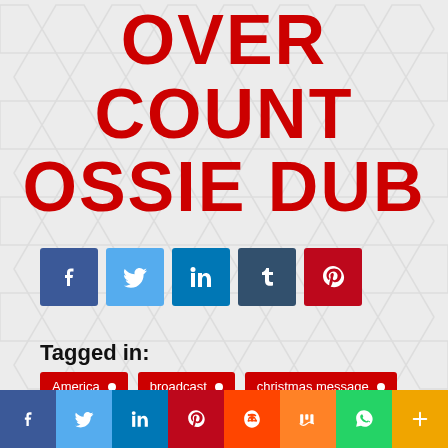OVER COUNT OSSIE DUB
[Figure (infographic): Social share buttons: Facebook (dark blue), Twitter (light blue), LinkedIn (blue), Tumblr (dark blue-grey), Pinterest (red)]
Tagged in:
America
broadcast
christmas message
H.I.M. Emperor Haile Selassie I
speech
[Figure (infographic): Bottom social sharing bar with icons: Facebook, Twitter, LinkedIn, Pinterest, Reddit, Mix, WhatsApp, More (plus sign)]